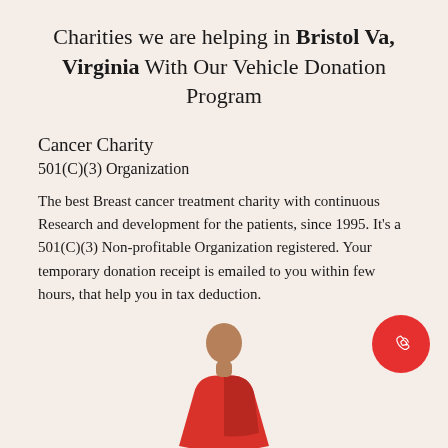Charities we are helping in Bristol Va, Virginia With Our Vehicle Donation Program
Cancer Charity
501(C)(3) Organization
The best Breast cancer treatment charity with continuous Research and development for the patients, since 1995. It's a 501(C)(3) Non-profitable Organization registered. Your temporary donation receipt is emailed to you within few hours, that help you in tax deduction.
[Figure (illustration): Illustration of a woman in a red dress with a bald head, representing a cancer patient]